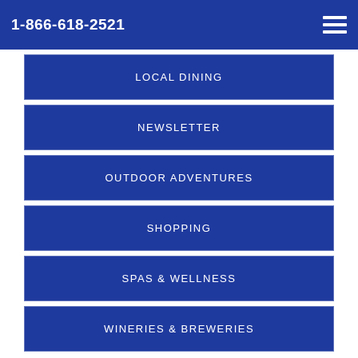1-866-618-2521
LOCAL DINING
NEWSLETTER
OUTDOOR ADVENTURES
SHOPPING
SPAS & WELLNESS
WINERIES & BREWERIES
NEWSLETTERS
August Events 2022
July 25, 2022